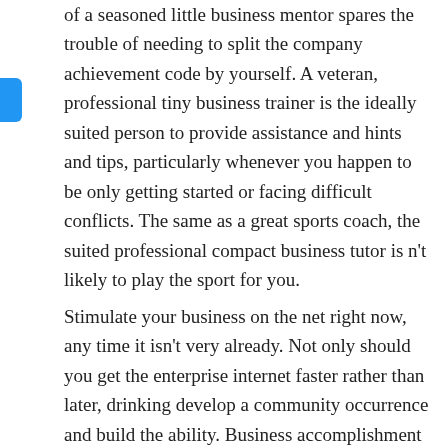of a seasoned little business mentor spares the trouble of needing to split the company achievement code by yourself. A veteran, professional tiny business trainer is the ideally suited person to provide assistance and hints and tips, particularly whenever you happen to be only getting started or facing difficult conflicts. The same as a great sports coach, the suited professional compact business tutor is n't likely to play the sport for you.
Stimulate your business on the net right now, any time it isn't very already. Not only should you get the enterprise internet faster rather than later, drinking develop a community occurrence and build the ability. Business accomplishment relating to the internet comes a great package a lot easier and more rapidly for the purpose of many web marketers simply by playing the individuals who generate up the selected market! Building a secure and trustworthy cryptocurrency expenditure webpage having